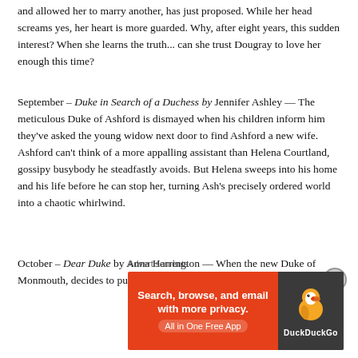and allowed her to marry another, has just proposed. While her head screams yes, her heart is more guarded. Why, after eight years, this sudden interest? When she learns the truth... can she trust Dougray to love her enough this time?
September – Duke in Search of a Duchess by Jennifer Ashley — The meticulous Duke of Ashford is dismayed when his children inform him they've asked the young widow next door to find Ashford a new wife. Ashford can't think of a more appalling assistant than Helena Courtland, gossipy busybody he steadfastly avoids. But Helena sweeps into his home and his life before he can stop her, turning Ash's precisely ordered world into a chaotic whirlwind.
October – Dear Duke by Anna Harrington — When the new Duke of Monmouth, decides to put through a canal, he isn't prepared for an old
Advertisements
[Figure (other): DuckDuckGo advertisement banner: orange background with text 'Search, browse, and email with more privacy. All in One Free App' and DuckDuckGo duck logo on dark background]